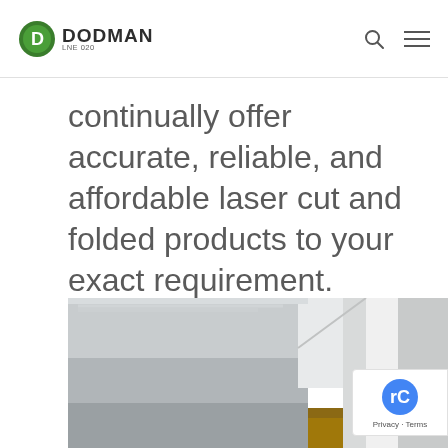DODMAN
continually offer accurate, reliable, and affordable laser cut and folded products to your exact requirement.
[Figure (photo): Close-up photo of a laser cutting or CNC machine, showing white metal panels and housing with a yellow warning sticker visible in the lower right area.]